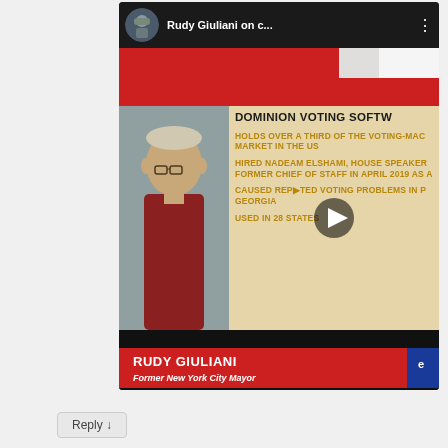[Figure (screenshot): Screenshot of a YouTube video embed showing a TV news segment. Top bar shows 'Rudy Giuliani on c...' with an avatar of a soldier. The video shows a split screen: left side shows an elderly man (Rudy Giuliani) in a red sweater, right side shows a news graphic listing facts about Dominion Voting Software: 'HOLDS OVER A THIRD OF THE VOTING-MACHINE MARKET IN THE US', 'HIRED NADEAM ELSHAMI, HOUSE SPEAKER FORMER CHIEF OF STAFF IN APRIL 2019 AS...', 'CAUSED REPORTED VOTING PROBLEMS IN GEORGIA', 'USED IN 28 STATES'. A play button is visible in the center. Lower portion shows a red name bar reading 'RUDY GIULIANI, Former New York City Mayor' with blue geometric accents. Below that is a black bar.]
Reply ↓